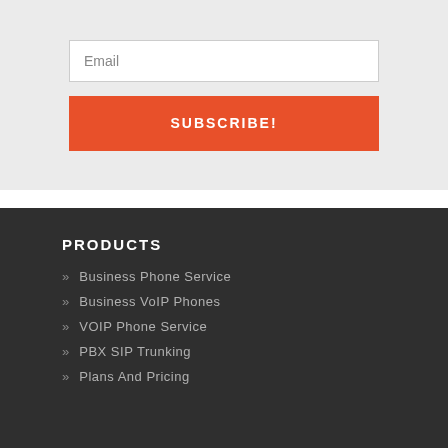Email
SUBSCRIBE!
PRODUCTS
» Business Phone Service
» Business VoIP Phones
» VOIP Phone Service
» PBX SIP Trunking
» Plans And Pricing